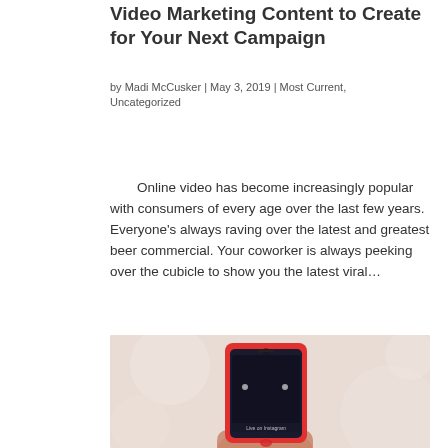Video Marketing Content to Create for Your Next Campaign
by Madi McCusker | May 3, 2019 | Most Current, Uncategorized
Online video has become increasingly popular with consumers of every age over the last few years. Everyone's always raving over the latest and greatest beer commercial. Your coworker is always peeking over the cubicle to show you the latest viral...
[Figure (photo): A hand holding a red-cased smartphone displaying a dark screen with 'Live on Instagram' text visible at the bottom, against a blurred light background.]